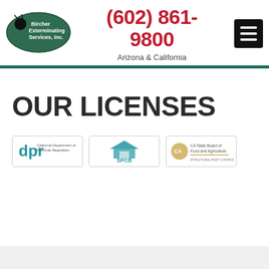[Figure (logo): Bircher Exterminating Services, Inc. green oval logo with beetle icon and white text]
(602) 861-9800
Arizona & California
[Figure (other): Black hamburger menu button with three white horizontal lines]
OUR LICENSES
[Figure (logo): California Department of Pesticide Regulation (dpr) logo badge]
[Figure (logo): SPCB Structural Pest Control Board logo badge]
[Figure (logo): CA State Board of Food and Agriculture logo badge]